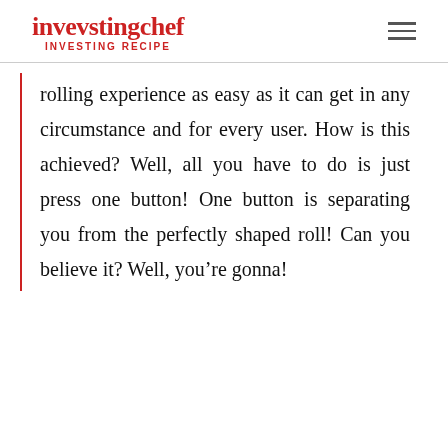invevstingchef INVESTING RECIPE
rolling experience as easy as it can get in any circumstance and for every user. How is this achieved? Well, all you have to do is just press one button! One button is separating you from the perfectly shaped roll! Can you believe it? Well, you’re gonna!